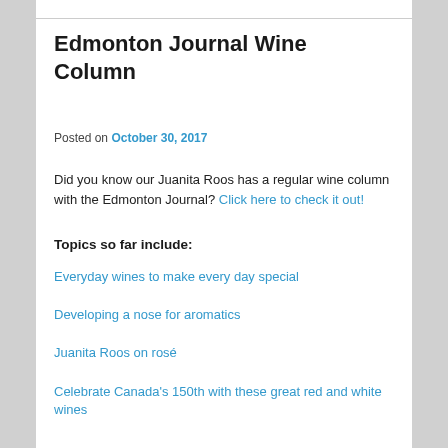Edmonton Journal Wine Column
Posted on October 30, 2017
Did you know our Juanita Roos has a regular wine column with the Edmonton Journal? Click here to check it out!
Topics so far include:
Everyday wines to make every day special
Developing a nose for aromatics
Juanita Roos on rosé
Celebrate Canada's 150th with these great red and white wines